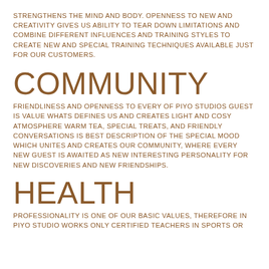STRENGTHENS THE MIND AND BODY. OPENNESS TO NEW AND CREATIVITY GIVES US ABILITY TO TEAR DOWN LIMITATIONS AND COMBINE DIFFERENT INFLUENCES AND TRAINING STYLES TO CREATE NEW AND SPECIAL TRAINING TECHNIQUES AVAILABLE JUST FOR OUR CUSTOMERS.
COMMUNITY
FRIENDLINESS AND OPENNESS TO EVERY OF PIYO STUDIOS GUEST IS VALUE WHATS DEFINES US AND CREATES LIGHT AND COSY ATMOSPHERE WARM TEA, SPECIAL TREATS, AND FRIENDLY CONVERSATIONS IS BEST DESCRIPTION OF THE SPECIAL MOOD WHICH UNITES AND CREATES OUR COMMUNITY, WHERE EVERY NEW GUEST IS AWAITED AS NEW INTERESTING PERSONALITY FOR NEW DISCOVERIES AND NEW FRIENDSHIPS.
HEALTH
PROFESSIONALITY IS ONE OF OUR BASIC VALUES, THEREFORE IN PIYO STUDIO WORKS ONLY CERTIFIED TEACHERS IN SPORTS OR